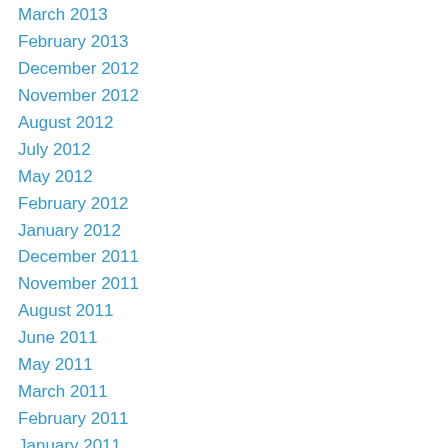March 2013
February 2013
December 2012
November 2012
August 2012
July 2012
May 2012
February 2012
January 2012
December 2011
November 2011
August 2011
June 2011
May 2011
March 2011
February 2011
January 2011
December 2010
November 2010
October 2010